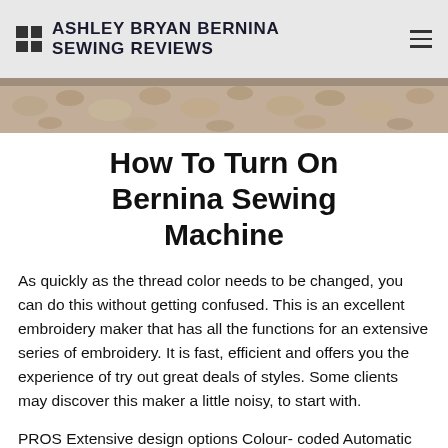ASHLEY BRYAN BERNINA SEWING REVIEWS
[Figure (photo): Close-up photo of gravel, pebbles, and rocks on a surface, used as a hero/banner image.]
How To Turn On Bernina Sewing Machine
As quickly as the thread color needs to be changed, you can do this without getting confused. This is an excellent embroidery maker that has all the functions for an extensive series of embroidery. It is fast, efficient and offers you the experience of try out great deals of styles. Some clients may discover this maker a little noisy, to start with.
PROS Extensive design options Colour- coded Automatic threader Fast & efficient The B79 of the Bernette variety is the finest of this lot. It comes as a sewing in addition to embroidery maker which provides the user total fulfillment and along extraordinary...